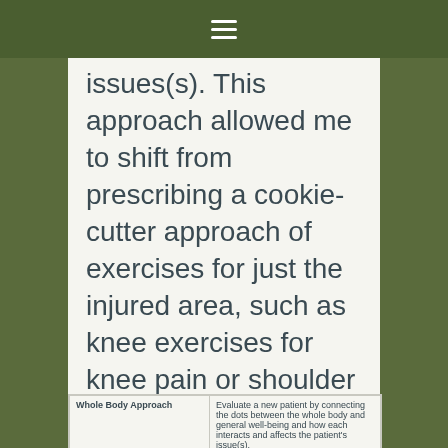≡
issues(s). This approach allowed me to shift from prescribing a cookie-cutter approach of exercises for just the injured area, such as knee exercises for knee pain or shoulder exercises for shoulder pain, to prescribing an individualized exercise program to promote optimal body function.
| Whole Body Approach |  |
| --- | --- |
|  | Evaluate a new patient by connecting the dots between the whole body and general well-being and how each interacts and affects the patient's issue(s). |